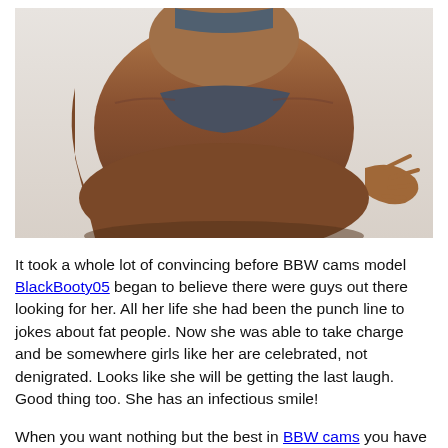[Figure (photo): Photo of a plus-size woman in a gray bikini, posed with back to camera showing her midsection and lower body against a light background.]
It took a whole lot of convincing before BBW cams model BlackBooty05 began to believe there were guys out there looking for her. All her life she had been the punch line to jokes about fat people. Now she was able to take charge and be somewhere girls like her are celebrated, not denigrated. Looks like she will be getting the last laugh. Good thing too. She has an infectious smile!
When you want nothing but the best in BBW cams you have a